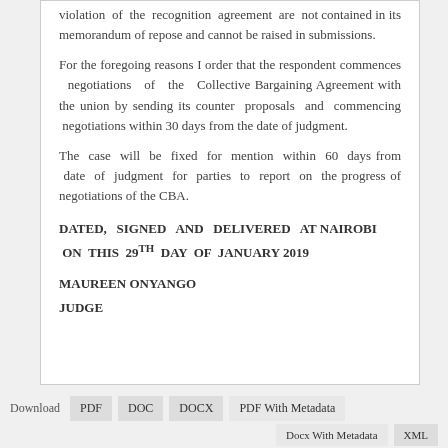violation of the recognition agreement are not contained in its memorandum of repose and cannot be raised in submissions.
For the foregoing reasons I order that the respondent commences negotiations of the Collective Bargaining Agreement with the union by sending its counter proposals and commencing negotiations within 30 days from the date of judgment.
The case will be fixed for mention within 60 days from date of judgment for parties to report on the progress of negotiations of the CBA.
DATED, SIGNED AND DELIVERED AT NAIROBI ON THIS 29TH DAY OF JANUARY 2019
MAUREEN ONYANGO
JUDGE
Download  PDF  DOC  DOCX  PDF With Metadata  Docx With Metadata  XML